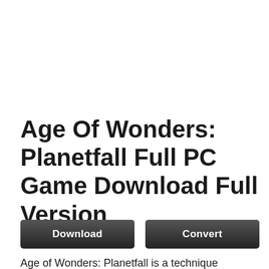Age Of Wonders: Planetfall Full PC Game Download Full Version
August 23, 2021 by admin
[Figure (other): Two dark buttons labeled 'Download' and 'Convert']
Age of Wonders: Planetfall is a technique